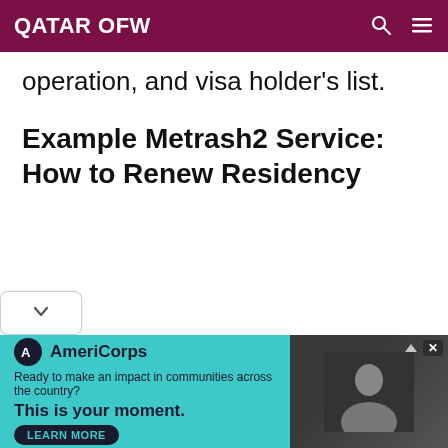QATAR OFW
operation, and visa holder’s list.
Example Metrash2 Service: How to Renew Residency
[Figure (screenshot): AmeriCorps advertisement banner. Teal background on left with AmeriCorps logo and text: 'Ready to make an impact in communities across the country? This is your moment.' with LEARN MORE button. Right side shows a photo of people.]